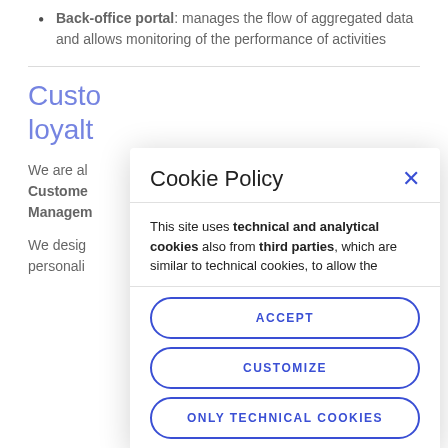Back-office portal: manages the flow of aggregated data and allows monitoring of the performance of activities
Customer loyalty
We are al... Customer... Manager...
We desig... personali...
[Figure (screenshot): Cookie Policy modal dialog overlay with title 'Cookie Policy', close button (X), body text about technical and analytical cookies from third parties, and three buttons: ACCEPT, CUSTOMIZE, ONLY TECHNICAL COOKIES]